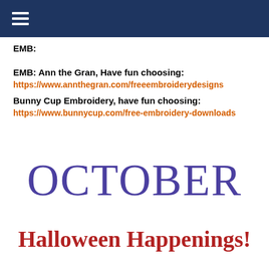EMB:
EMB: Ann the Gran, Have fun choosing:
https://www.annthegran.com/freeembroiderydesigns
Bunny Cup Embroidery, have fun choosing:
https://www.bunnycup.com/free-embroidery-downloads
OCTOBER
Halloween Happenings!